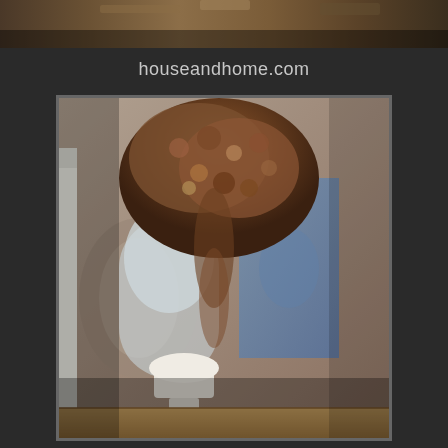[Figure (photo): Partial top strip image, appears to be a decorative or architectural detail, dark tones]
houseandhome.com
[Figure (photo): Interior bathroom with elaborate shell-encrusted arched walls and ceiling, a pedestal sink, mirror, and blue painted wall sections. The decor is ornate and eclectic with shells and stone-like elements covering surfaces.]